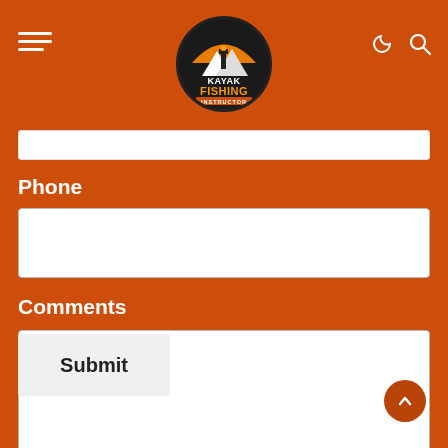[Figure (logo): Kayak Fishing Instructor circular logo with mountain and kayak silhouette on dark background]
Phone
Comments
Submit